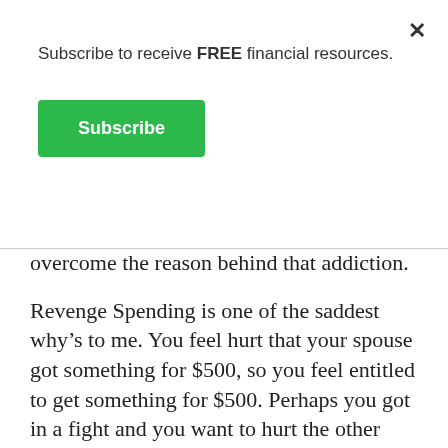Subscribe to receive FREE financial resources.
Subscribe
overcome the reason behind that addiction.
Revenge Spending is one of the saddest why’s to me. You feel hurt that your spouse got something for $500, so you feel entitled to get something for $500. Perhaps you got in a fight and you want to hurt the other person, you go and spend money to make yourself feel better and to show your spouse/partner that you are mad at them. No one is a winner in any of these scenarios. I counseled a couple where he would spend money on golfing, so she would spend equal money on shopping.
Each couple should have their own personal